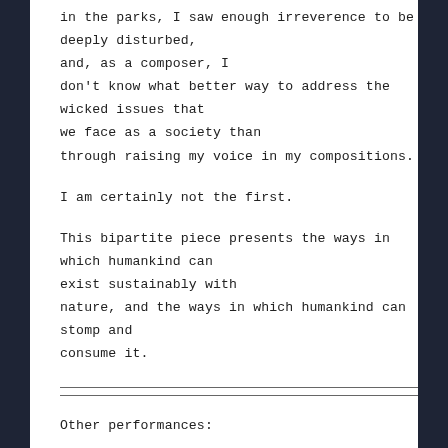in the parks, I saw enough irreverence to be deeply disturbed, and, as a composer, I don't know what better way to address the wicked issues that we face as a society than through raising my voice in my compositions.
I am certainly not the first.
This bipartite piece presents the ways in which humankind can exist sustainably with nature, and the ways in which humankind can stomp and consume it.
Other performances: